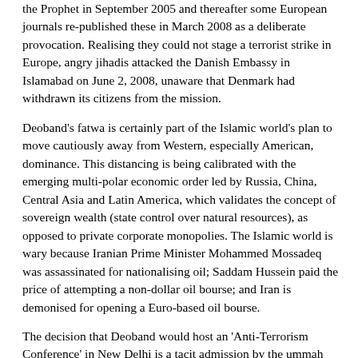the Prophet in September 2005 and thereafter some European journals re-published these in March 2008 as a deliberate provocation. Realising they could not stage a terrorist strike in Europe, angry jihadis attacked the Danish Embassy in Islamabad on June 2, 2008, unaware that Denmark had withdrawn its citizens from the mission.
Deoband's fatwa is certainly part of the Islamic world's plan to move cautiously away from Western, especially American, dominance. This distancing is being calibrated with the emerging multi-polar economic order led by Russia, China, Central Asia and Latin America, which validates the concept of sovereign wealth (state control over natural resources), as opposed to private corporate monopolies. The Islamic world is wary because Iranian Prime Minister Mohammed Mossadeq was assassinated for nationalising oil; Saddam Hussein paid the price of attempting a non-dollar oil bourse; and Iran is demonised for opening a Euro-based oil bourse.
The decision that Deoband would host an 'Anti-Terrorism Conference' in New Delhi is a tacit admission by the ummah that India alone has been victim of sustained jihad for over a century, not for sins of Hindus, but to serve a colonial agenda. Though India was not complicit in the humiliation of Islam in Palestine or other places, Hindus alone suffered the brunt of blind Muslim rage, which did not cease even with Partition in 1947.